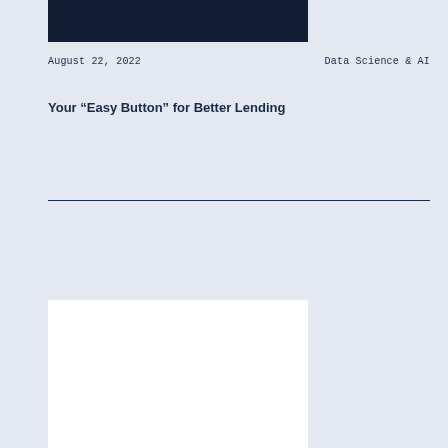[Figure (photo): Dark navy blue image block at top of article card]
August 22, 2022
Data Science & AI
Your “Easy Button” for Better Lending
[Figure (illustration): Zest AI branded card with house illustration showing a dark navy house silhouette with a circular window, on white background with Zest AI logo]